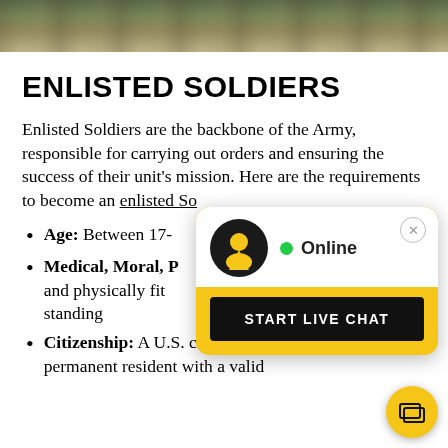[Figure (photo): Military soldier in camouflage uniform, partial view, tan/olive tones]
ENLISTED SOLDIERS
Enlisted Soldiers are the backbone of the Army, responsible for carrying out orders and ensuring the success of their unit's mission. Here are the requirements to become an enlisted So[ldier:]
Age: Between 17-[34]
Medical, Moral, P[hysical:] and physically fit [and in good] standing
Citizenship: A U.S. citizen or permanent resident with a valid
[Figure (screenshot): Live chat popup widget with avatar, Online status indicator, and START LIVE CHAT button in gold/black colors]